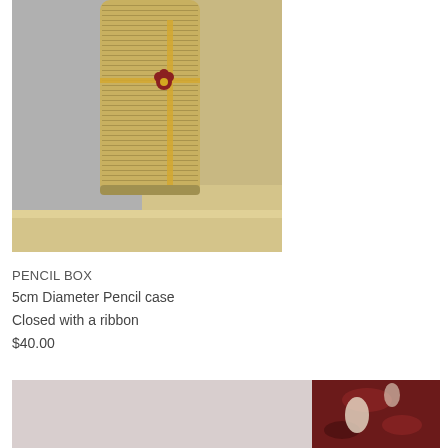[Figure (photo): A cylindrical pencil case wrapped in printed newspaper/text paper with a gold/tan color, tied with a ribbon and a small decorative flower, standing upright on a wooden surface.]
PENCIL BOX
5cm Diameter Pencil case
Closed with a ribbon
$40.00
[Figure (photo): Partial view of a dark red/maroon patterned item on a light background, bottom of the page.]